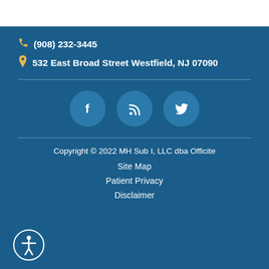(908) 232-3445
532 East Broad Street Westfield, NJ 07090
[Figure (infographic): Social media icons: Facebook, RSS feed, Twitter — white icons on dark teal circular backgrounds]
Copyright © 2022 MH Sub I, LLC dba Officite
Site Map
Patient Privacy
Disclaimer